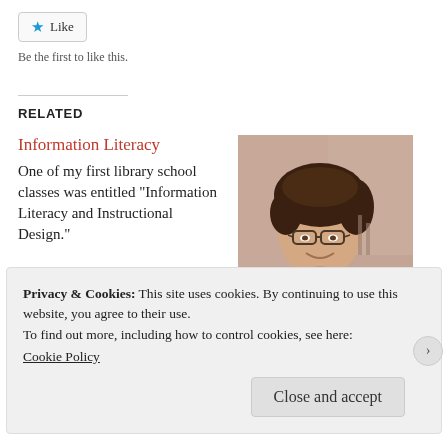[Figure (other): Like button widget with star icon and text 'Like']
Be the first to like this.
RELATED
Information Literacy
One of my first library school classes was entitled "Information Literacy and Instructional Design."
[Figure (photo): Photo of a young woman with glasses and short curly hair, smiling, standing outdoors near a brick building]
Privacy & Cookies: This site uses cookies. By continuing to use this website, you agree to their use.
To find out more, including how to control cookies, see here:
Cookie Policy
Close and accept